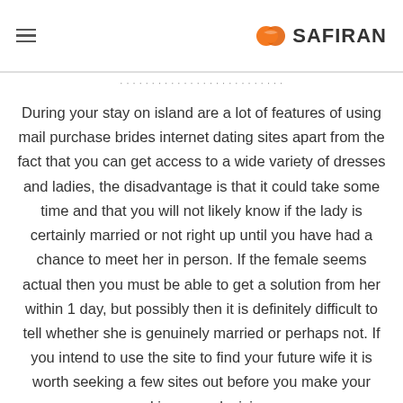SAFIRAN
During your stay on island are a lot of features of using mail purchase brides internet dating sites apart from the fact that you can get access to a wide variety of dresses and ladies, the disadvantage is that it could take some time and that you will not likely know if the lady is certainly married or not right up until you have had a chance to meet her in person. If the female seems actual then you must be able to get a solution from her within 1 day, but possibly then it is definitely difficult to tell whether she is genuinely married or perhaps not. If you intend to use the site to find your future wife it is worth seeking a few sites out before you make your making your decision.